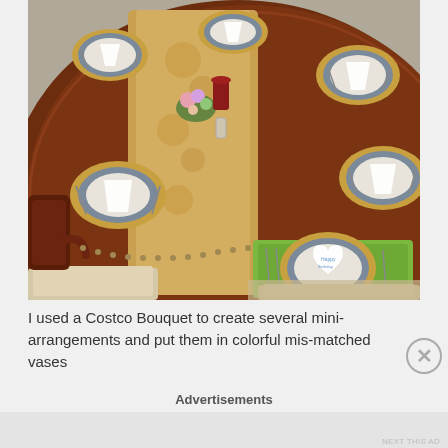[Figure (photo): A decorated dining table set for a meal, viewed from above at an angle. The dark wood table has place settings with gold charger plates, blue-grey patterned dinner plates, and white folded napkins. A floral table runner with gold pattern runs down the center. One place setting in the foreground has a green placemat and a heart-shaped white napkin with a drawing on it. Flower centerpieces and candles are visible. Upholstered chairs with cream fabric surround the table.]
I used a Costco Bouquet to create several mini-arrangements and put them in colorful mis-matched vases
Advertisements